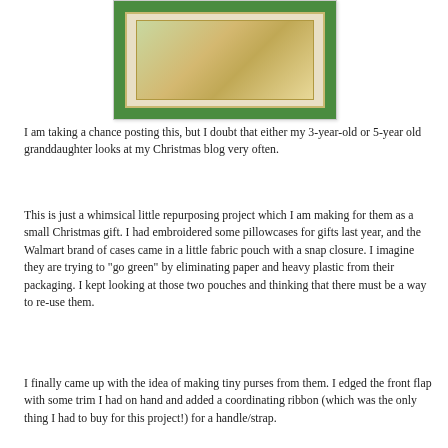[Figure (illustration): A vintage Christmas card or illustration with a green background and decorative imagery featuring holly and festive figures.]
I am taking a chance posting this, but I doubt that either my 3-year-old or 5-year old granddaughter looks at my Christmas blog very often.
This is just a whimsical little repurposing project which I am making for them as a small Christmas gift. I had embroidered some pillowcases for gifts last year, and the Walmart brand of cases came in a little fabric pouch with a snap closure. I imagine they are trying to "go green" by eliminating paper and heavy plastic from their packaging. I kept looking at those two pouches and thinking that there must be a way to re-use them.
I finally came up with the idea of making tiny purses from them. I edged the front flap with some trim I had on hand and added a coordinating ribbon (which was the only thing I had to buy for this project!) for a handle/strap.